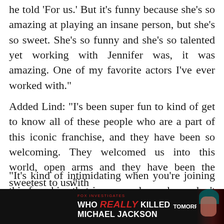he told 'For us.' But it's funny because she's so amazing at playing an insane person, but she's so sweet. She's so funny and she's so talented yet working with Jennifer was, it was amazing. One of my favorite actors I've ever worked with."
Added Lind: "I's been super fun to kind of get to know all of these people who are a part of this iconic franchise, and they have been so welcoming. They welcomed us into this world, open arms and they have been the sweetest to us."
"It's kind of intimidating when you're joining this franchise that is so popular and you don't realize how big the Chucky following is until you're actually in it," she added. "So many people are obsessed with this spooky doll. So getting to you know [with] it for [her]"
[Figure (other): Advertisement banner: WHO REALLY KILLED MICHAEL JACKSON — TOMORROW 8/7c FOX, dark background with red and white text and a portrait image on the right side.]